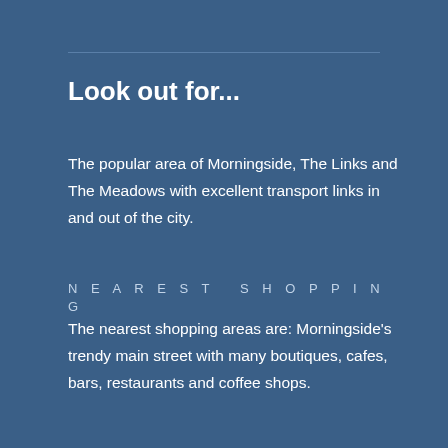Look out for...
The popular area of Morningside, The Links and The Meadows with excellent transport links in and out of the city.
NEAREST SHOPPING
The nearest shopping areas are: Morningside's trendy main street with many boutiques, cafes, bars, restaurants and coffee shops.